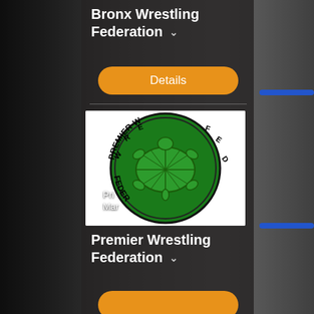Bronx Wrestling Federation
Details
[Figure (logo): Premier Wrestling Federation circular logo with green background and turtle illustration, text around the border reading PREMIER WRESTLING FEDERATION]
Pri
Mar
Premier Wrestling Federation